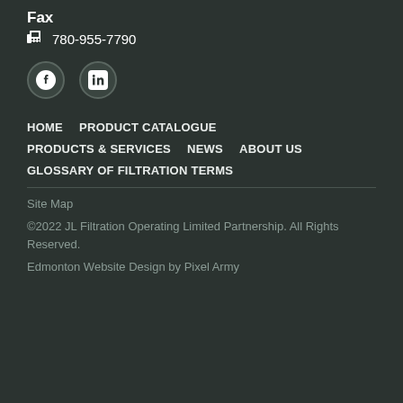Fax
780-955-7790
[Figure (illustration): Social media icons: Facebook and LinkedIn circular icons]
HOME
PRODUCT CATALOGUE
PRODUCTS & SERVICES
NEWS
ABOUT US
GLOSSARY OF FILTRATION TERMS
Site Map
©2022 JL Filtration Operating Limited Partnership. All Rights Reserved.
Edmonton Website Design by Pixel Army